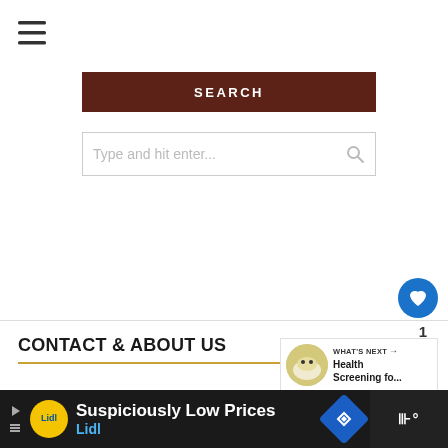[Figure (screenshot): Hamburger menu icon (three horizontal lines)]
SEARCH
Type and hit enter...
[Figure (screenshot): Blue circle heart/like button]
1
[Figure (screenshot): Share button icon]
CONTACT & ABOUT US
[Figure (screenshot): What's Next panel with dog image thumbnail and text: Health Screening fo...]
About
[Figure (screenshot): Lidl advertisement bar: Suspiciously Low Prices / Lidl]